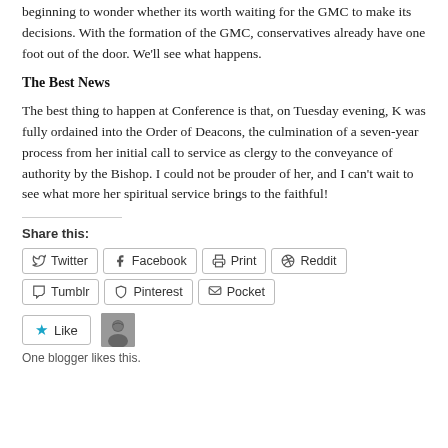beginning to wonder whether its worth waiting for the GMC to make its decisions. With the formation of the GMC, conservatives already have one foot out of the door. We'll see what happens.
The Best News
The best thing to happen at Conference is that, on Tuesday evening, K was fully ordained into the Order of Deacons, the culmination of a seven-year process from her initial call to service as clergy to the conveyance of authority by the Bishop. I could not be prouder of her, and I can't wait to see what more her spiritual service brings to the faithful!
Share this:
Twitter Facebook Print Reddit Tumblr Pinterest Pocket
Like
One blogger likes this.